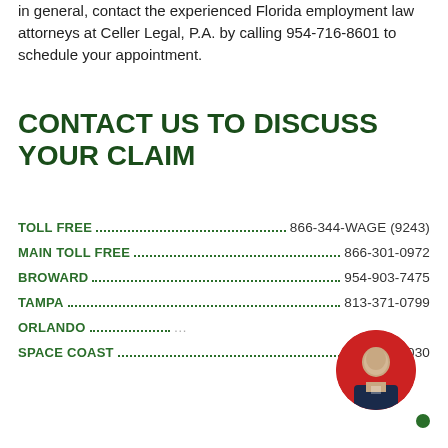in general, contact the experienced Florida employment law attorneys at Celler Legal, P.A. by calling 954-716-8601 to schedule your appointment.
CONTACT US TO DISCUSS YOUR CLAIM
TOLL FREE............................866-344-WAGE (9243)
MAIN TOLL FREE.....................................866-301-0972
BROWARD...........................................954-903-7475
TAMPA.................................................813-371-0799
ORLANDO....................(partially obscured)
SPACE COAST..........................................321-206-1030
[Figure (photo): Circular avatar of a man in a suit on a red background with a green online indicator dot, with a chat bubble saying 'Hi how can I help?']